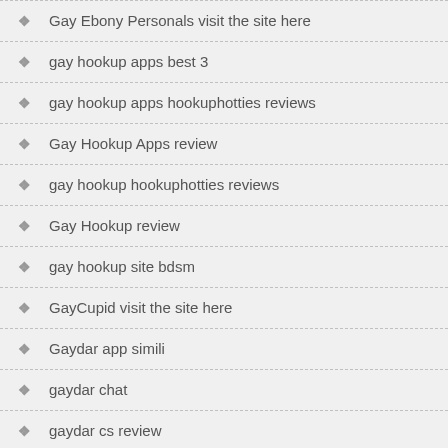Gay Ebony Personals visit the site here
gay hookup apps best 3
gay hookup apps hookuphotties reviews
Gay Hookup Apps review
gay hookup hookuphotties reviews
Gay Hookup review
gay hookup site bdsm
GayCupid visit the site here
Gaydar app simili
gaydar chat
gaydar cs review